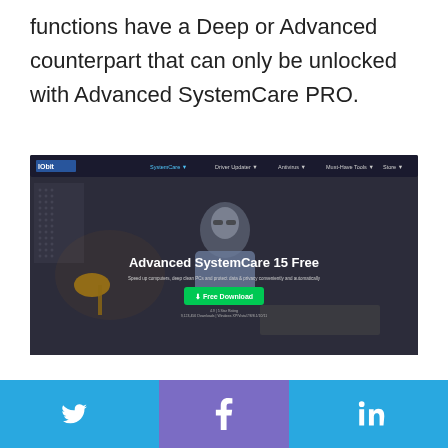functions have a Deep or Advanced counterpart that can only be unlocked with Advanced SystemCare PRO.
[Figure (screenshot): Screenshot of the IObit website showing Advanced SystemCare 15 Free product page with a man working at a computer, navigation bar at top, and a green Free Download button.]
The Scan function scans the computer and then recommends repairs. This searches for unused